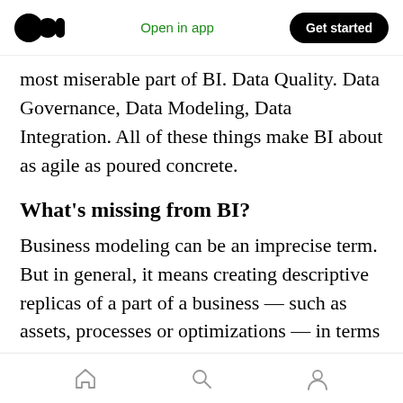Open in app | Get started
most miserable part of BI. Data Quality. Data Governance, Data Modeling, Data Integration. All of these things make BI about as agile as poured concrete.
What's missing from BI?
Business modeling can be an imprecise term. But in general, it means creating descriptive replicas of a part of a business — such as assets, processes or optimizations — in terms that are consonant with the people (and processes) that use them. Usually, the goal is to render these
Home | Search | Profile